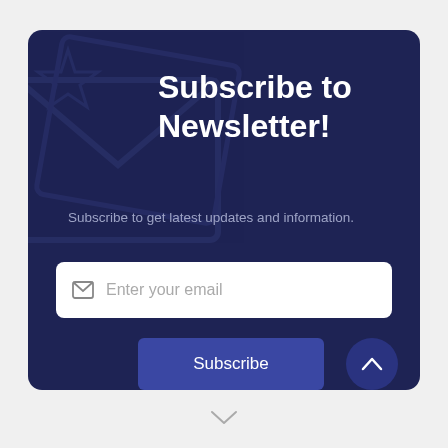Subscribe to Newsletter!
Subscribe to get latest updates and information.
[Figure (screenshot): Email input field with envelope icon and placeholder text 'Enter your email']
[Figure (screenshot): Subscribe button (blue rectangle) and scroll-to-top button (dark blue circle with chevron up icon)]